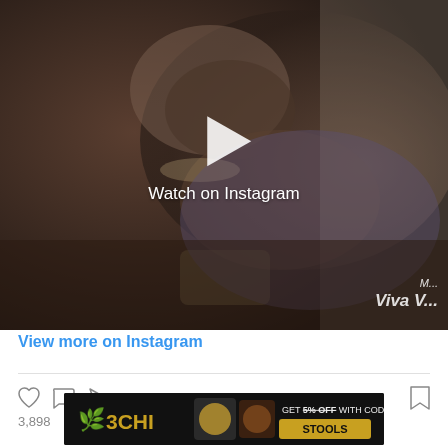[Figure (screenshot): Instagram video thumbnail showing a man lying down wearing jewelry, with a white play button overlay and 'Watch on Instagram' text. Bottom right corner shows partial text 'M... Viva V...' watermark.]
View more on Instagram
[Figure (screenshot): Instagram post action bar with heart (like), comment, share icons on left and bookmark icon on right. Like count shows 3,898.]
[Figure (screenshot): 3CHI advertisement banner: cannabis leaf logo, '3CHI' brand name, product images, 'GET 5% OFF WITH CODE STOOLS' text on gold button background.]